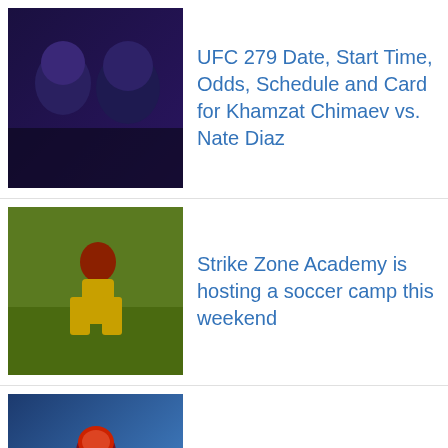UFC 279 Date, Start Time, Odds, Schedule and Card for Khamzat Chimaev vs. Nate Diaz
Strike Zone Academy is hosting a soccer camp this weekend
Morning coffee: Best bet for Thursday night football
CFL Commissioner Ambrosie is still optimistic the league will add the 10th franchise
The History of Old Washington Theaters – Washington Daily News